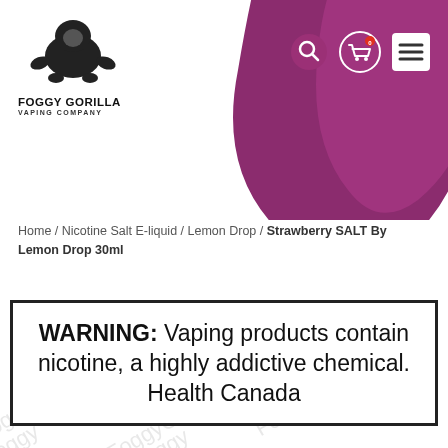[Figure (logo): Foggy Gorilla Vaping Company logo with gorilla silhouette]
[Figure (screenshot): Website navigation header with search icon, shopping cart icon showing 0 items, and hamburger menu icon on purple blob background]
Home / Nicotine Salt E-liquid / Lemon Drop / Strawberry SALT By Lemon Drop 30ml
WARNING: Vaping products contain nicotine, a highly addictive chemical. Health Canada